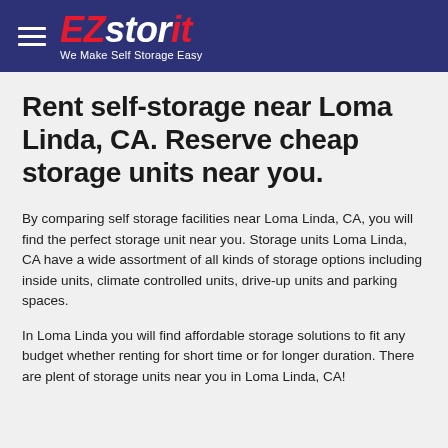EZstorit — We Make Self Storage Easy
Rent self-storage near Loma Linda, CA. Reserve cheap storage units near you.
By comparing self storage facilities near Loma Linda, CA, you will find the perfect storage unit near you. Storage units Loma Linda, CA have a wide assortment of all kinds of storage options including inside units, climate controlled units, drive-up units and parking spaces.
In Loma Linda you will find affordable storage solutions to fit any budget whether renting for short time or for longer duration. There are plent of storage units near you in Loma Linda, CA!